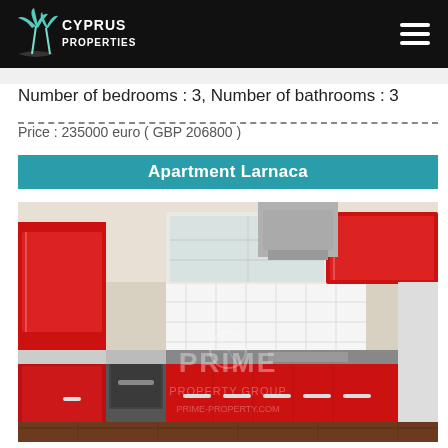Cyprus Properties
Number of bedrooms : 3, Number of bathrooms : 3
Price : 235000 euro ( GBP 206800 )
Apartment Larnaca
[Figure (photo): Interior photo of a modern kitchen with bright red glossy cabinetry, white tiled backsplash, stainless steel appliances, and dark hardwood flooring. A watermark reading PRIME PROPERTY GROUP / PRIME-PROPERTY.COM is visible on the image.]